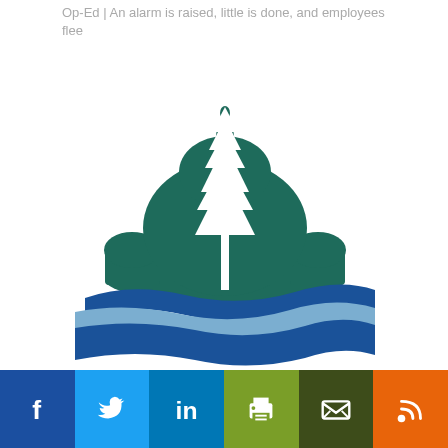Op-Ed | An alarm is raised, little is done, and employees flee
[Figure (logo): Logo featuring a dark green U.S. Capitol dome silhouette with a white evergreen tree in the center, overlaid on two blue wave shapes — a dark blue wave and a lighter blue wave — suggesting water/rivers below the capitol.]
[Figure (infographic): Social media sharing bar with six buttons: Facebook (blue), Twitter (cyan), LinkedIn (blue), Print (green), Email (dark olive), RSS (orange)]